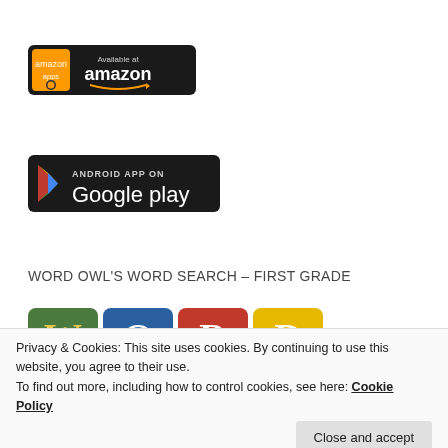[Figure (logo): Amazon Appstore badge — black rounded rectangle with 'Available at' text and 'amazon' wordmark with smile arrow, amazon apps icon on left]
[Figure (logo): Google Play badge — black rounded rectangle reading 'ANDROID APP ON Google play' with colorful play button triangle logo]
WORD OWL'S WORD SEARCH – FIRST GRADE
[Figure (illustration): Partial view of Word Owl's Word Search app icon showing colorful alphabet blocks spelling 'WORD']
Privacy & Cookies: This site uses cookies. By continuing to use this website, you agree to their use.
To find out more, including how to control cookies, see here: Cookie Policy
Close and accept